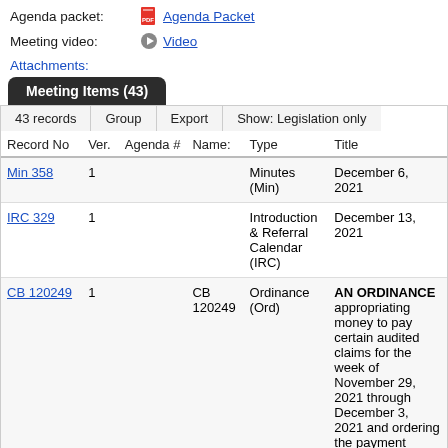Agenda packet: Agenda Packet
Meeting video: Video
Attachments:
Meeting Items (43)
| Record No | Ver. | Agenda # | Name: | Type | Title |
| --- | --- | --- | --- | --- | --- |
| Min 358 | 1 |  |  | Minutes (Min) | December 6, 2021 |
| IRC 329 | 1 |  |  | Introduction & Referral Calendar (IRC) | December 13, 2021 |
| CB 120249 | 1 |  | CB 120249 | Ordinance (Ord) | AN ORDINANCE appropriating money to pay certain audited claims for the week of November 29, 2021 through December 3, 2021 and ordering the payment thereof. |